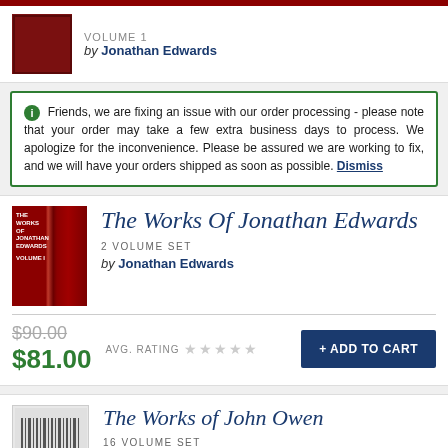VOLUME 1 by Jonathan Edwards
Friends, we are fixing an issue with our order processing - please note that your order may take a few extra business days to process. We apologize for the inconvenience. Please be assured we are working to fix, and we will have your orders shipped as soon as possible. Dismiss
The Works Of Jonathan Edwards
2 VOLUME SET
by Jonathan Edwards
$90.00 $81.00 AVG. RATING + ADD TO CART
The Works of John Owen
16 VOLUME SET